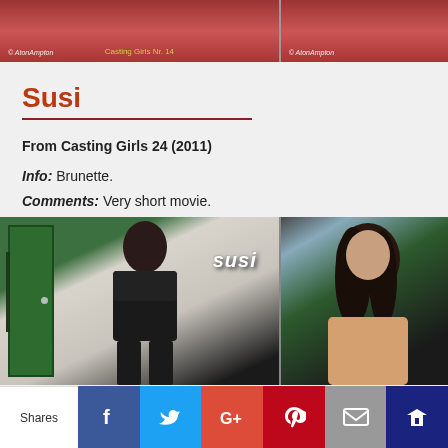[Figure (photo): Partial top image strip showing cropped photo with watermark and 'Casting Girls Nr. 14' label]
Susi
From Casting Girls 24 (2011)
Info: Brunette.
Comments: Very short movie.
[Figure (photo): Two photos side by side: left shows woman in black bra top with 'susi' text overlay in front of green door; right shows woman with dark hair in close-up against green background]
Shares | Facebook | Twitter | Google+ | Pinterest | Email | Crown